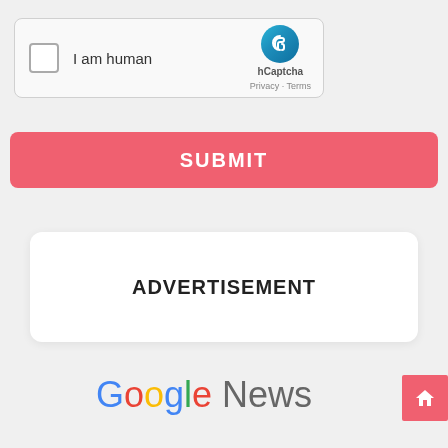[Figure (screenshot): hCaptcha widget with checkbox labeled 'I am human' and hCaptcha logo with Privacy - Terms links]
SUBMIT
ADVERTISEMENT
[Figure (logo): Google News logo in Google brand colors]
[Figure (other): Red home/house button icon in bottom right]